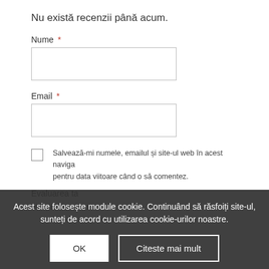Nu există recenzii până acum.
Nume *
Email *
Salvează-mi numele, emailul și site-ul web în acest naviga pentru data viitoare când o să comentez.
Evaluarea ta
Acest site folosește module cookie. Continuând să răsfoiți site-ul, sunteți de acord cu utilizarea cookie-urilor noastre.
OK
Citeste mai mult